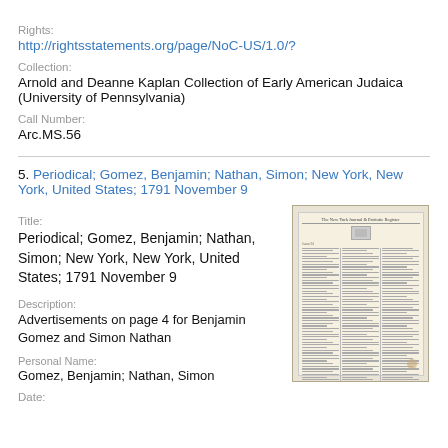Rights:
http://rightsstatements.org/page/NoC-US/1.0/?
Collection:
Arnold and Deanne Kaplan Collection of Early American Judaica (University of Pennsylvania)
Call Number:
Arc.MS.56
5. Periodical; Gomez, Benjamin; Nathan, Simon; New York, New York, United States; 1791 November 9
Title:
Periodical; Gomez, Benjamin; Nathan, Simon; New York, New York, United States; 1791 November 9
[Figure (photo): Thumbnail image of an old newspaper page, yellowed with age, showing multiple columns of text]
Description:
Advertisements on page 4 for Benjamin Gomez and Simon Nathan
Personal Name:
Gomez, Benjamin; Nathan, Simon
Date: